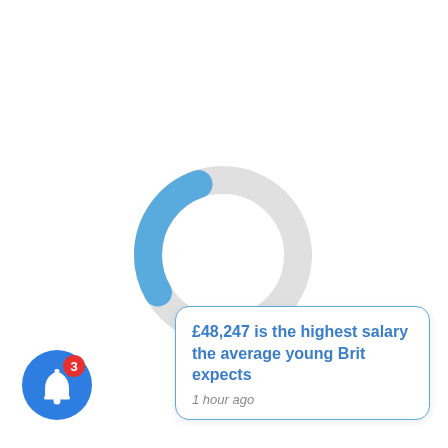[Figure (other): A circular progress/loading spinner UI element, mostly light gray with a small blue arc segment at the bottom-right, indicating partial progress or loading.]
[Figure (other): A close/dismiss button: small black circle with white X in the upper right corner of the notification card.]
£48,247 is the highest salary the average young Brit expects
1 hour ago
[Figure (other): A blue circular notification bell icon with a red badge showing the number 3.]